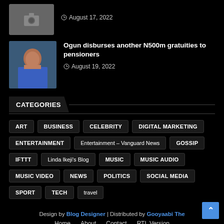[Figure (photo): Placeholder camera icon thumbnail for an article dated August 17, 2022]
August 17, 2022
[Figure (photo): Photo of a man in a blue outfit sitting at a desk, likely a Nigerian official]
Ogun disburses another N500m gratuities to pensioners
August 19, 2022
CATEGORIES
ART
BUSINESS
CELEBRITY
DIGITAL MARKETING
ENTERTAINMENT
Entertainment – Vanguard News
GOSSIP
IFTTT
Linda Ikeji's Blog
MUSIC
MUSIC AUDIO
MUSIC VIDEO
NEWS
POLITICS
SOCIAL MEDIA
SPORT
TECH
travel
Design by Blog Designer | Distributed by Gooyaabi The… | Home  About  Contact  RTL Version